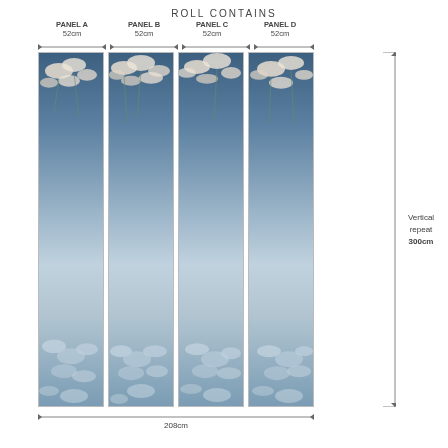ROLL CONTAINS
[Figure (schematic): Four vertical wallpaper panels (A, B, C, D) each 52cm wide, showing a blue floral botanical design with white magnolia flowers at top and bottom. Total width 208cm, vertical repeat 300cm.]
PANEL A 52cm | PANEL B 52cm | PANEL C 52cm | PANEL D 52cm | 208cm total width | Vertical repeat 300cm